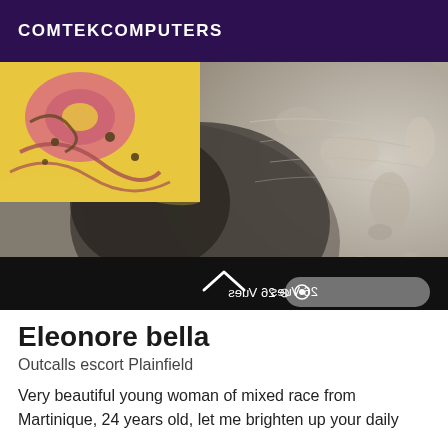COMTEKCOMPUTERS
[Figure (photo): Close-up photo showing what appears to be a sandy or rocky textured surface with a colorful patterned fabric (pink, yellow, black floral/swirl design) visible in the upper left corner. The image has a mirrored/flipped view badge showing '26 Vues' in the lower right and a chevron arrow at the bottom center.]
Eleonore bella
Outcalls escort Plainfield
Very beautiful young woman of mixed race from Martinique, 24 years old, let me brighten up your daily